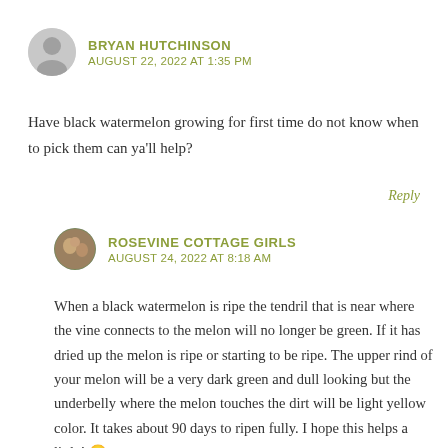BRYAN HUTCHINSON
AUGUST 22, 2022 AT 1:35 PM
Have black watermelon growing for first time do not know when to pick them can ya'll help?
Reply
ROSEVINE COTTAGE GIRLS
AUGUST 24, 2022 AT 8:18 AM
When a black watermelon is ripe the tendril that is near where the vine connects to the melon will no longer be green. If it has dried up the melon is ripe or starting to be ripe. The upper rind of your melon will be a very dark green and dull looking but the underbelly where the melon touches the dirt will be light yellow color. It takes about 90 days to ripen fully. I hope this helps a little! 🙂